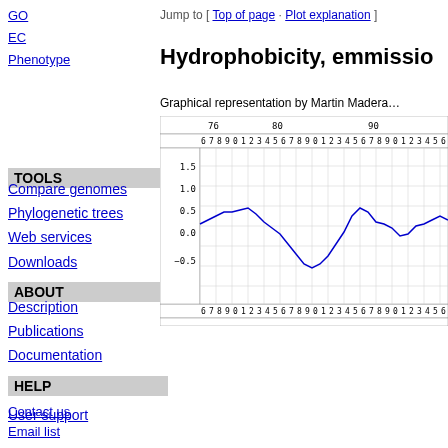GO
EC
Phenotype
Jump to [ Top of page · Plot explanation ]
Hydrophobicity, emmissio…
TOOLS
Compare genomes
Phylogenetic trees
Web services
Downloads
ABOUT
Description
Publications
Documentation
HELP
User support
Contact us
Email list
Sitemap
Graphical representation by Martin Madera…
[Figure (continuous-plot): Hydrophobicity plot showing a continuous line chart with y-axis ranging from -0.5 to 1.5, x-axis showing positions 76-90+, with a wavy blue line oscillating between approximately -0.6 and 0.9]